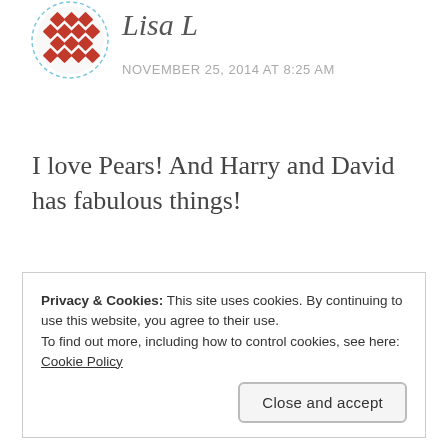[Figure (illustration): Circular avatar with red diamond/cross pattern on white background, dashed blue circle border]
Lisa L
NOVEMBER 25, 2014 AT 8:25 AM
I love Pears! And Harry and David has fabulous things!
★ Like
Privacy & Cookies: This site uses cookies. By continuing to use this website, you agree to their use.
To find out more, including how to control cookies, see here:
Cookie Policy
Close and accept